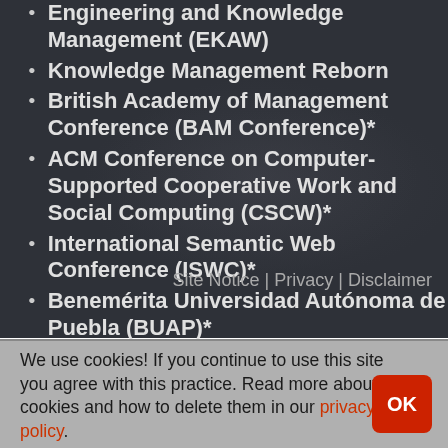Engineering and Knowledge Management (EKAW)
Knowledge Management Reborn
British Academy of Management Conference (BAM Conference)*
ACM Conference on Computer-Supported Cooperative Work and Social Computing (CSCW)*
International Semantic Web Conference (ISWC)*
Benemérita Universidad Autónoma de Puebla (BUAP)*
Site Notice | Privacy | Disclaimer
We use cookies! If you continue to use this site you agree with this practice. Read more about cookies and how to delete them in our privacy policy.